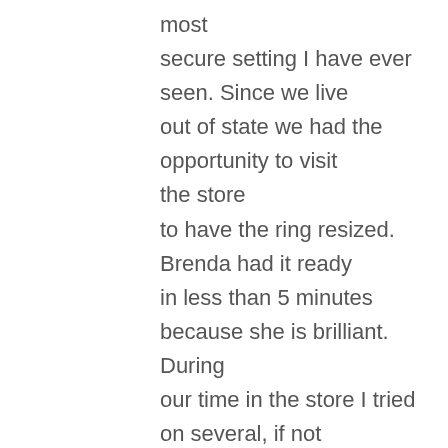most secure setting I have ever seen. Since we live out of state we had the opportunity to visit the store to have the ring resized. Brenda had it ready in less than 5 minutes because she is brilliant. During our time in the store I tried on several, if not all, of the wedding bands. I couldn't decide between a plain platinum and yellow gold to match my husband or a diamond one for extra sparkle. I went with both. The platinum and yellow band came from an originally all platinum ring with a life...